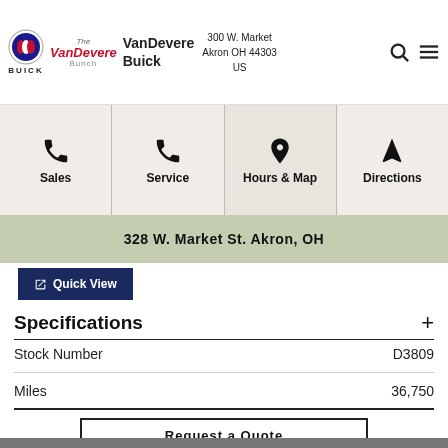VanDevere Buick — 300 W. Market Akron OH 44303 US
Sales | Service | Hours & Map | Directions
528 W. Market St. Akron, OH
Quick View
Specifications
|  |  |
| --- | --- |
| Stock Number | D3809 |
| Miles | 36,750 |
Request a Quote